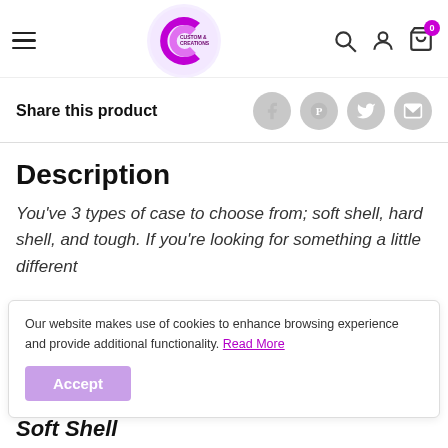[Figure (logo): Custom Creations logo: purple C shape with text 'CUSTOM CREATIONS' inside, on a light purple circular background]
Share this product
Description
You've 3 types of case to choose from; soft shell, hard shell, and tough. If you're looking for something a little different
Our website makes use of cookies to enhance browsing experience and provide additional functionality. Read More
Accept
Soft Shell